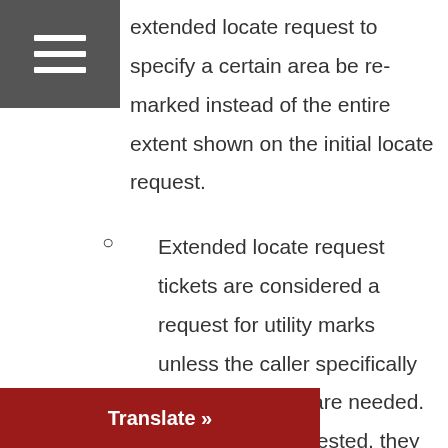[Figure (other): Hamburger menu icon — three white horizontal bars on a dark grey square background]
extended locate request to specify a certain area be re-marked instead of the entire extent shown on the initial locate request.
Extended locate request tickets are considered a request for utility marks unless the caller specifically states no marks are needed. If marks are requested, they require two working days advance notice. Extensions requested within the last two
[Figure (other): Red 'Translate »' button in bottom-left corner]